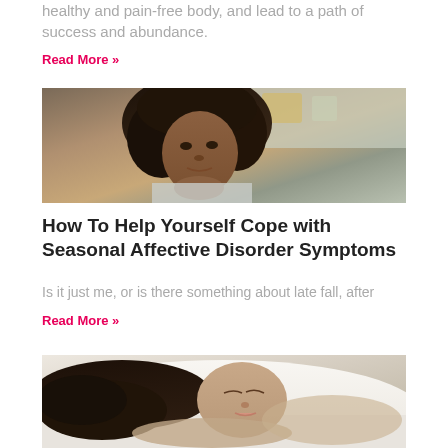healthy and pain-free body, and lead to a path of success and abundance.
Read More »
[Figure (photo): Young Black woman with curly hair resting her chin on her hand, looking thoughtful, in a kitchen setting]
How To Help Yourself Cope with Seasonal Affective Disorder Symptoms
Is it just me, or is there something about late fall, after
Read More »
[Figure (photo): Woman with dark hair sleeping peacefully on white pillow and bedding]